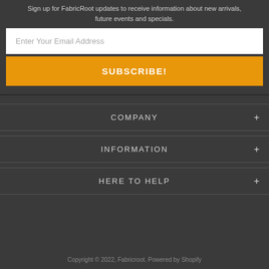Sign up for FabricRoot updates to receive information about new arrivals, future events and specials.
Enter Your Email Address
SUBSCRIBE!
COMPANY
INFORMATION
HERE TO HELP
Copyright © 2022, Fabricroot. Powered by Shopify